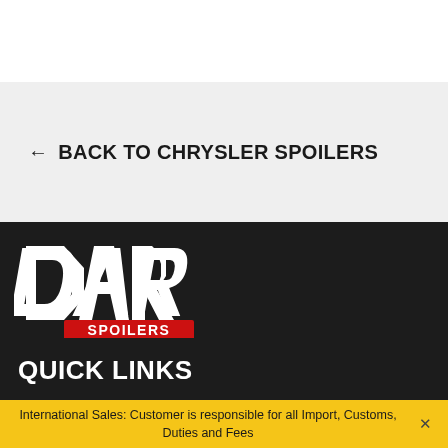← BACK TO CHRYSLER SPOILERS
[Figure (logo): DAR SPOILERS logo — large bold italic white letters 'DAR' on dark background with red banner below saying 'SPOILERS' in white]
QUICK LINKS
International Sales: Customer is responsible for all Import, Customs, Duties and Fees